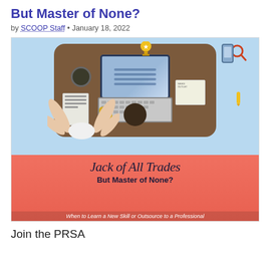But Master of None?
by SCOOP Staff • January 18, 2022
[Figure (illustration): Top-down view illustration of a person multitasking at a desk with a laptop, coffee cup, documents, phone, and other items. Bottom salmon-colored banner reads 'Jack of All Trades But Master of None? When to Learn a New Skill or Outsource to a Professional']
Join the PRSA